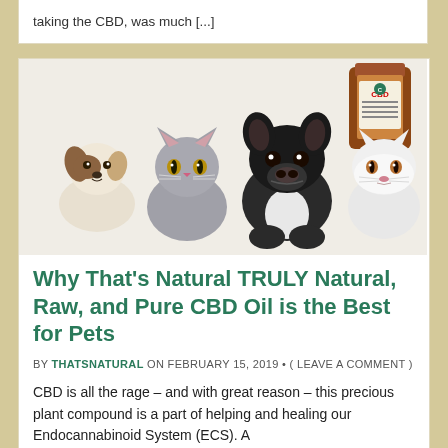taking the CBD, was much [...]
[Figure (photo): Photo of four pets: a small brown and white puppy (Chihuahua), a grey cat, a black and white French Bulldog, and a white Persian cat, arranged side by side on a white background. A brown bottle of CBD oil is visible in the upper right corner.]
Why That’s Natural TRULY Natural, Raw, and Pure CBD Oil is the Best for Pets
BY THATSNATURAL ON FEBRUARY 15, 2019 • ( LEAVE A COMMENT )
CBD is all the rage – and with great reason – this precious plant compound is a part of helping and healing our Endocannabinoid System (ECS). A